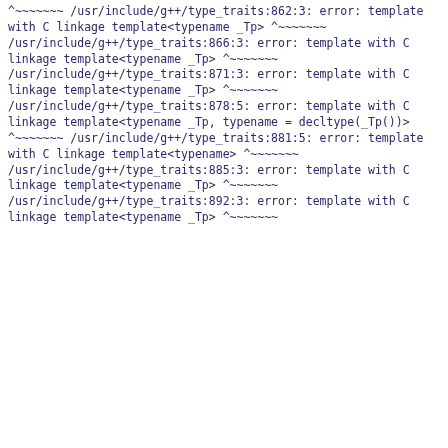^~~~~~~~
/usr/include/g++/type_traits:862:3: error: template with C linkage
    template<typename _Tp>
    ^~~~~~~~
/usr/include/g++/type_traits:866:3: error: template with C linkage
    template<typename _Tp>
    ^~~~~~~~
/usr/include/g++/type_traits:871:3: error: template with C linkage
    template<typename _Tp>
    ^~~~~~~~
/usr/include/g++/type_traits:878:5: error: template with C linkage
      template<typename _Tp, typename = decltype(_Tp())>
      ^~~~~~~~
/usr/include/g++/type_traits:881:5: error: template with C linkage
      template<typename>
      ^~~~~~~~
/usr/include/g++/type_traits:885:3: error: template with C linkage
    template<typename _Tp>
    ^~~~~~~~
/usr/include/g++/type_traits:892:3: error: template with C linkage
    template<typename _Tp>
    ^~~~~~~~